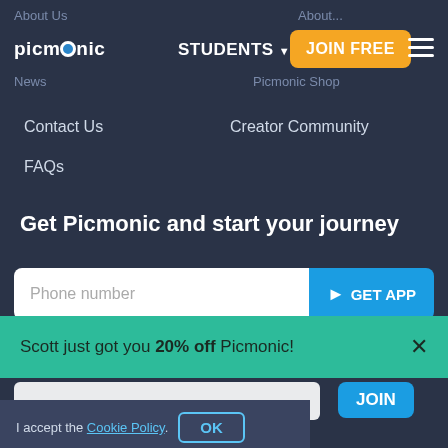[Figure (screenshot): Picmonic website navigation bar with logo, STUDENTS dropdown, JOIN FREE orange button, hamburger menu, and faded background links (About Us, News, Picmonic Shop)]
Contact Us
Creator Community
FAQs
Get Picmonic and start your journey
Phone number
GET APP
Download on the
GET IT ON
Scott just got you 20% off Picmonic!
JOIN
I accept the Cookie Policy.
OK
rved | Privacy Policy - Cookie Policy - Terms of Use - Copyright